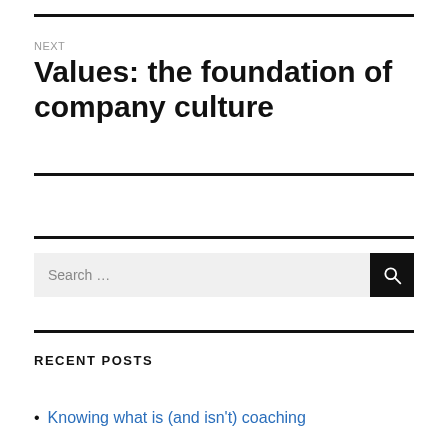NEXT
Values: the foundation of company culture
Search …
RECENT POSTS
Knowing what is (and isn't) coaching